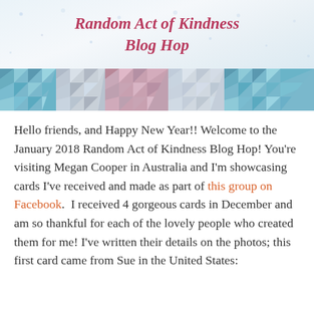[Figure (illustration): Banner image with decorative title 'Random Act of Kindness Blog Hop' in italic cursive on a white/light background at top, and a colorful geometric triangle patchwork stripe pattern below in teal, pink, and grey tones.]
Hello friends, and Happy New Year!! Welcome to the January 2018 Random Act of Kindness Blog Hop! You're visiting Megan Cooper in Australia and I'm showcasing  cards I've received and made as part of this group on Facebook.  I received 4 gorgeous cards in December and am so thankful for each of the lovely people who created them for me! I've written their details on the photos; this first card came from Sue in the United States: